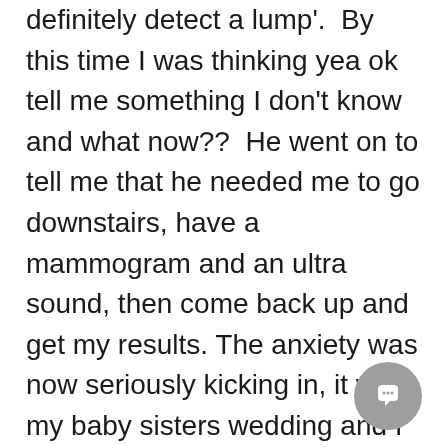definitely detect a lump'.  By this time I was thinking yea ok tell me something I don't know and what now??  He went on to tell me that he needed me to go downstairs, have a mammogram and an ultra sound, then come back up and get my results. The anxiety was now seriously kicking in, it was my baby sisters wedding and I was still at the hospital. it was 2 o'clock and my make up artist was arriving at 4 o'clock. I had a zillion other things to do.  I was really starting to panic.

The next thing you know I just burst into tears, I felt like a right idiot, crying over the stress of a weddi... Luckily for me it just so happened